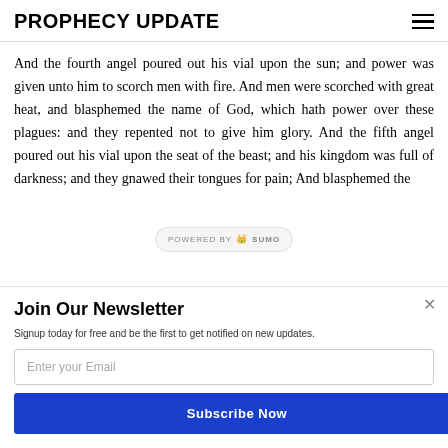PROPHECY UPDATE
And the fourth angel poured out his vial upon the sun; and power was given unto him to scorch men with fire. And men were scorched with great heat, and blasphemed the name of God, which hath power over these plagues: and they repented not to give him glory. And the fifth angel poured out his vial upon the seat of the beast; and his kingdom was full of darkness; and they gnawed their tongues for pain; And blasphemed the
Join Our Newsletter
Signup today for free and be the first to get notified on new updates.